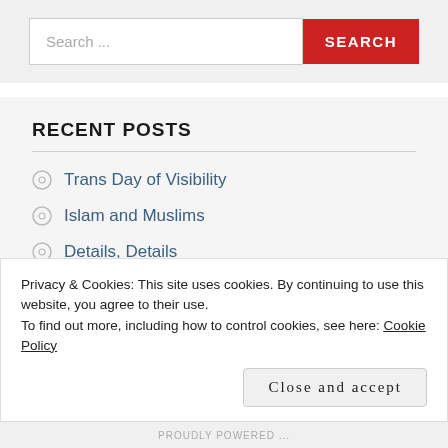[Figure (screenshot): Search bar with text input showing 'Search ...' placeholder and a red 'SEARCH' button]
RECENT POSTS
Trans Day of Visibility
Islam and Muslims
Details, Details
Muslims and Police, What?
Privacy & Cookies: This site uses cookies. By continuing to use this website, you agree to their use.
To find out more, including how to control cookies, see here: Cookie Policy
Close and accept